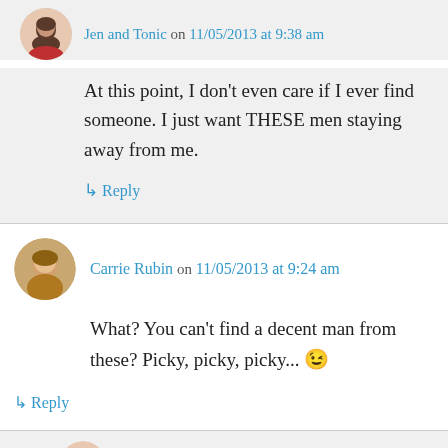Jen and Tonic on 11/05/2013 at 9:38 am
At this point, I don't even care if I ever find someone. I just want THESE men staying away from me.
↳ Reply
Carrie Rubin on 11/05/2013 at 9:24 am
What? You can't find a decent man from these? Picky, picky, picky... 😉
↳ Reply
Jen and Tonic on 11/05/2013 at 9:38 am
My standards are crazy high, I guess my...